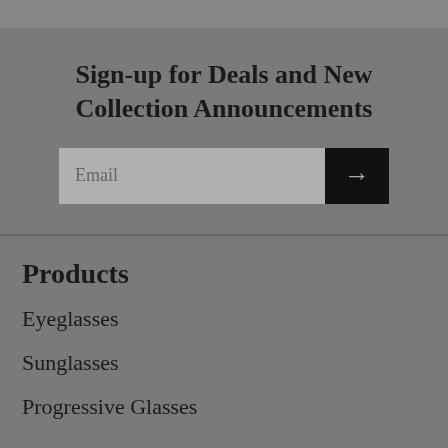Sign-up for Deals and New Collection Announcements
Email
Products
Eyeglasses
Sunglasses
Progressive Glasses
About Us